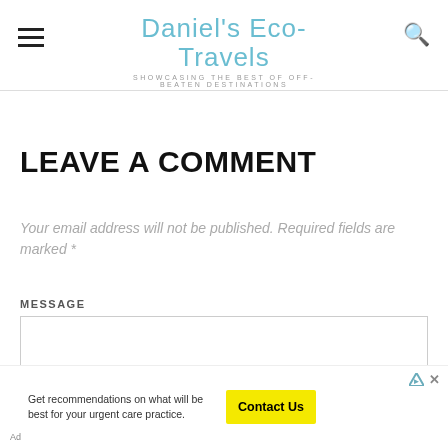Daniel's Eco-Travels — SHOWCASING THE BEST OF OFF-BEATEN DESTINATIONS
LEAVE A COMMENT
Your email address will not be published. Required fields are marked *
MESSAGE
[Figure (screenshot): Empty message text area input box]
Ad — Get recommendations on what will be best for your urgent care practice. Contact Us